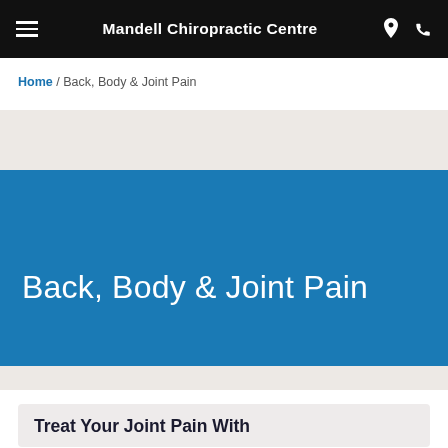Mandell Chiropractic Centre
Home / Back, Body & Joint Pain
Back, Body & Joint Pain
Treat Your Joint Pain With